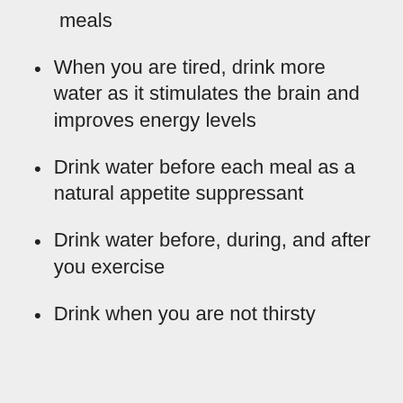meals
When you are tired, drink more water as it stimulates the brain and improves energy levels
Drink water before each meal as a natural appetite suppressant
Drink water before, during, and after you exercise
Drink when you are not thirsty